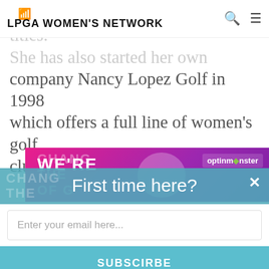LPGA WOMEN'S NETWORK
prides herself on her four major titles. She has also started her own company Nancy Lopez Golf in 1998 which offers a full line of women's golf clubs, apparel, and accessories.
[Figure (other): WE'RE ad banner with pink/purple gradient background and optinmonster branding]
First time here?
Join our free Community
Enter your email here...
SUBSCIRBE